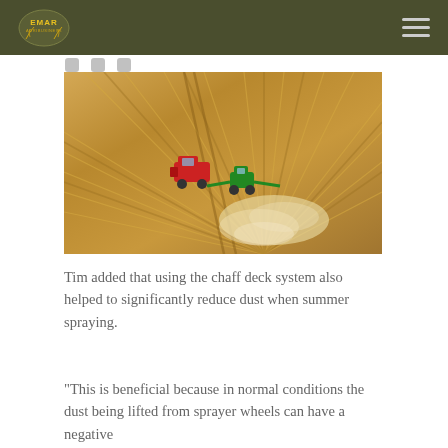EMAR [logo] — navigation bar with hamburger menu
[Figure (photo): Aerial drone photograph of farm machinery (red tractor/combine and green sprayer) on harvested crop field with rows visible, dust cloud behind the sprayer]
Tim added that using the chaff deck system also helped to significantly reduce dust when summer spraying.
“This is beneficial because in normal conditions the dust being lifted from sprayer wheels can have a negative